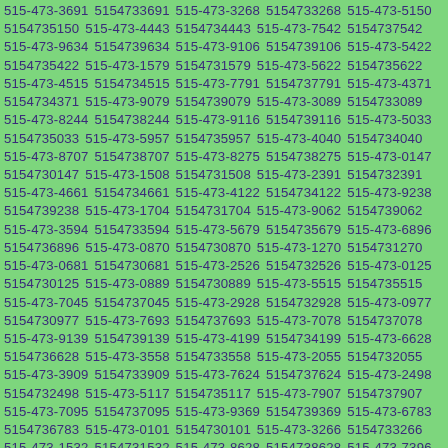515-473-3691 5154733691 515-473-3268 5154733268 515-473-5150 5154735150 515-473-4443 5154734443 515-473-7542 5154737542 515-473-9634 5154739634 515-473-9106 5154739106 515-473-5422 5154735422 515-473-1579 5154731579 515-473-5622 5154735622 515-473-4515 5154734515 515-473-7791 5154737791 515-473-4371 5154734371 515-473-9079 5154739079 515-473-3089 5154733089 515-473-8244 5154738244 515-473-9116 5154739116 515-473-5033 5154735033 515-473-5957 5154735957 515-473-4040 5154734040 515-473-8707 5154738707 515-473-8275 5154738275 515-473-0147 5154730147 515-473-1508 5154731508 515-473-2391 5154732391 515-473-4661 5154734661 515-473-4122 5154734122 515-473-9238 5154739238 515-473-1704 5154731704 515-473-9062 5154739062 515-473-3594 5154733594 515-473-5679 5154735679 515-473-6896 5154736896 515-473-0870 5154730870 515-473-1270 5154731270 515-473-0681 5154730681 515-473-2526 5154732526 515-473-0125 5154730125 515-473-0889 5154730889 515-473-5515 5154735515 515-473-7045 5154737045 515-473-2928 5154732928 515-473-0977 5154730977 515-473-7693 5154737693 515-473-7078 5154737078 515-473-9139 5154739139 515-473-4199 5154734199 515-473-6628 5154736628 515-473-3558 5154733558 515-473-2055 5154732055 515-473-3909 5154733909 515-473-7624 5154737624 515-473-2498 5154732498 515-473-5117 5154735117 515-473-7907 5154737907 515-473-7095 5154737095 515-473-9369 5154739369 515-473-6783 5154736783 515-473-0101 5154730101 515-473-3266 5154733266 515-473-1532 5154731532 515-473-8628 5154738628 515-473-7396 5154737396